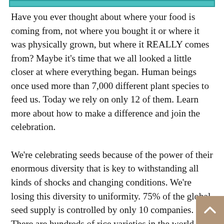[Figure (other): Teal/cyan colored header bar at top of page]
Have you ever thought about where your food is coming from, not where you bought it or where it was physically grown, but where it REALLY comes from? Maybe it's time that we all looked a little closer at where everything began. Human beings once used more than 7,000 different plant species to feed us. Today we rely on only 12 of them. Learn more about how to make a difference and join the celebration.
We're celebrating seeds because of the power of their enormous diversity that is key to withstanding all kinds of shocks and changing conditions. We're losing this diversity to uniformity. 75% of the global seed supply is controlled by only 10 companies. There are hundreds of rice varieties in the world but